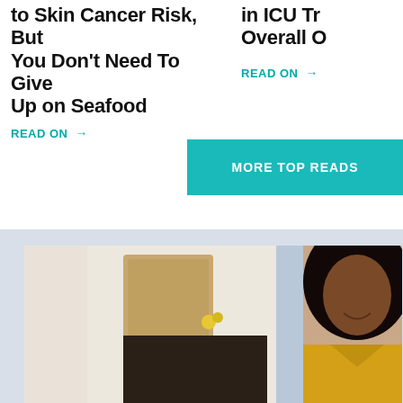to Skin Cancer Risk, But You Don't Need To Give Up on Seafood
READ ON →
in ICU Tr Overall O
READ ON →
MORE TOP READS
[Figure (photo): A smiling Black woman in a yellow top, photographed indoors in a bright room with blurred furniture in background.]